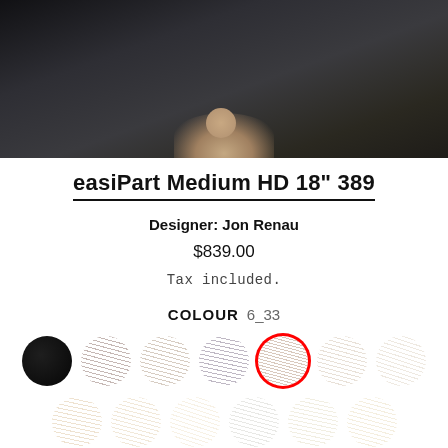[Figure (photo): Product photo showing dark draped fabric/clothing, partial view of a model wearing dark outfit with hand visible at bottom center]
easiPart Medium HD 18" 389
Designer: Jon Renau
$839.00
Tax included.
COLOUR  6_33
[Figure (illustration): Color swatches row 1: 7 circular hair color swatches from black to light brown, 5th swatch (6_33 medium auburn-brown) is highlighted with red circle border]
[Figure (illustration): Color swatches row 2: 6 visible circular hair color swatches ranging from warm brown to light ash/grey tones]